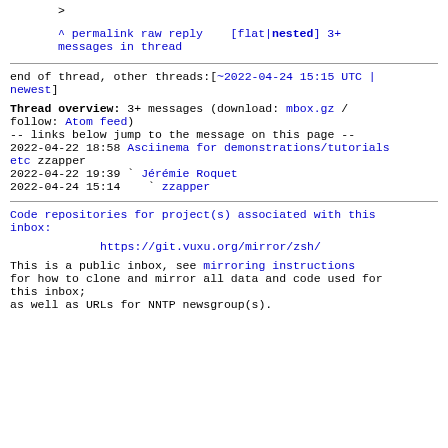>
^ permalink raw reply  [flat|nested] 3+ messages in thread
end of thread, other threads:[~2022-04-24 15:15 UTC | newest]
Thread overview: 3+ messages (download: mbox.gz / follow: Atom feed)
-- links below jump to the message on this page --
2022-04-22 18:58 Asciinema for demonstrations/tutorials etc zzapper
2022-04-22 19:39 ` Jérémie Roquet
2022-04-24 15:14   ` zzapper
Code repositories for project(s) associated with this inbox:
https://git.vuxu.org/mirror/zsh/
This is a public inbox, see mirroring instructions for how to clone and mirror all data and code used for this inbox;
as well as URLs for NNTP newsgroup(s).